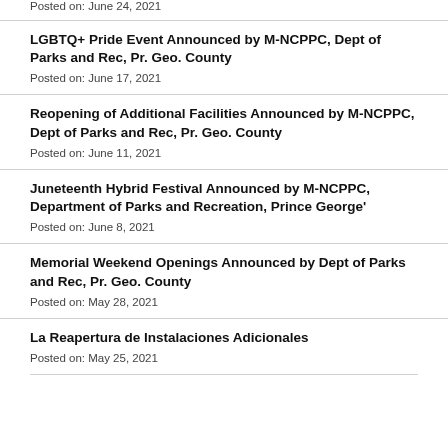Posted on: June 24, 2021
LGBTQ+ Pride Event Announced by M-NCPPC, Dept of Parks and Rec, Pr. Geo. County
Posted on: June 17, 2021
Reopening of Additional Facilities Announced by M-NCPPC, Dept of Parks and Rec, Pr. Geo. County
Posted on: June 11, 2021
Juneteenth Hybrid Festival Announced by M-NCPPC, Department of Parks and Recreation, Prince George'
Posted on: June 8, 2021
Memorial Weekend Openings Announced by Dept of Parks and Rec, Pr. Geo. County
Posted on: May 28, 2021
La Reapertura de Instalaciones Adicionales
Posted on: May 25, 2021